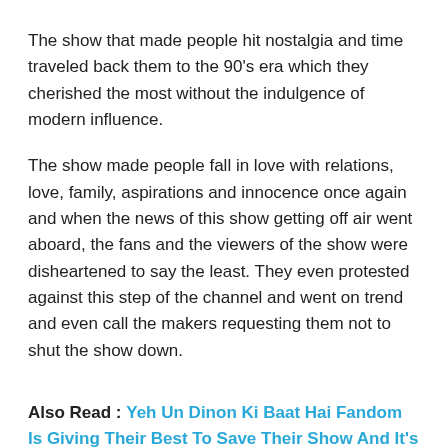The show that made people hit nostalgia and time traveled back them to the 90's era which they cherished the most without the indulgence of modern influence.
The show made people fall in love with relations, love, family, aspirations and innocence once again and when the news of this show getting off air went aboard, the fans and the viewers of the show were disheartened to say the least. They even protested against this step of the channel and went on trend and even call the makers requesting them not to shut the show down.
Also Read : Yeh Un Dinon Ki Baat Hai Fandom Is Giving Their Best To Save Their Show And It's Appreciable!